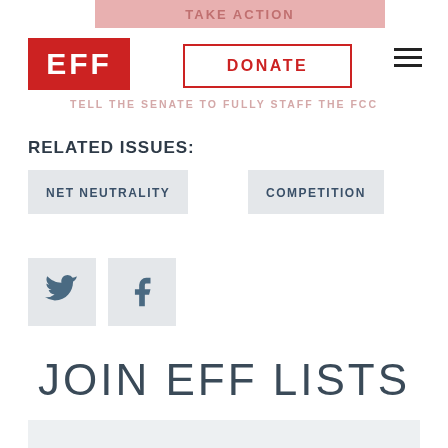TAKE ACTION
[Figure (logo): EFF logo in red with white text]
DONATE
TELL THE SENATE TO FULLY STAFF THE FCC
RELATED ISSUES:
NET NEUTRALITY
COMPETITION
[Figure (logo): Twitter bird icon in steel blue on light grey square]
[Figure (logo): Facebook f icon in steel blue on light grey square]
JOIN EFF LISTS